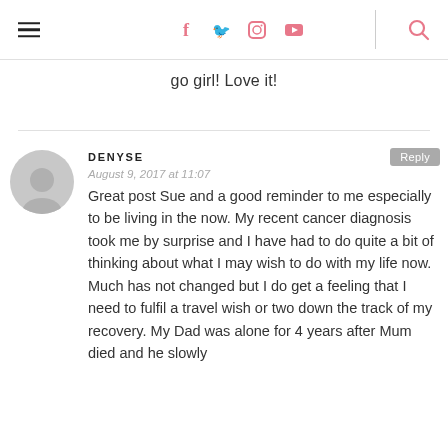Navigation header with hamburger menu, social icons (Facebook, Twitter, Instagram, YouTube), and search icon
go girl! Love it!
DENYSE
August 9, 2017 at 11:07
Great post Sue and a good reminder to me especially to be living in the now. My recent cancer diagnosis took me by surprise and I have had to do quite a bit of thinking about what I may wish to do with my life now. Much has not changed but I do get a feeling that I need to fulfil a travel wish or two down the track of my recovery. My Dad was alone for 4 years after Mum died and he slowly